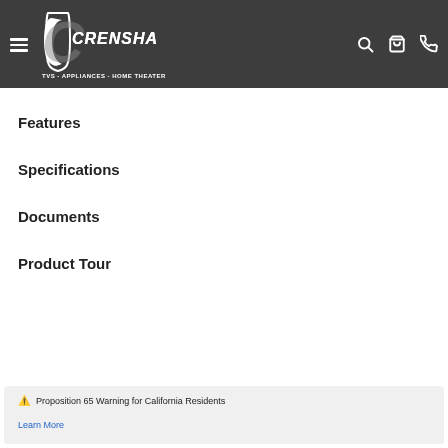CRENSHAWS - TVS - APPLIANCES - HOME THEATER
Features
Specifications
Documents
Product Tour
⚠ Proposition 65 Warning for California Residents
Learn More